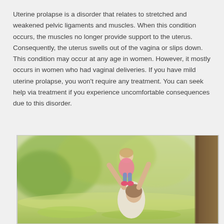Uterine prolapse is a disorder that relates to stretched and weakened pelvic ligaments and muscles. When this condition occurs, the muscles no longer provide support to the uterus. Consequently, the uterus swells out of the vagina or slips down. This condition may occur at any age in women. However, it mostly occurs in women who had vaginal deliveries. If you have mild uterine prolapse, you won't require any treatment. You can seek help via treatment if you experience uncomfortable consequences due to this disorder.
[Figure (photo): A woman lifting a toddler up in the air outdoors, with trees and greenery in the background. The child is wearing pink shoes and a pink top with blue pants.]